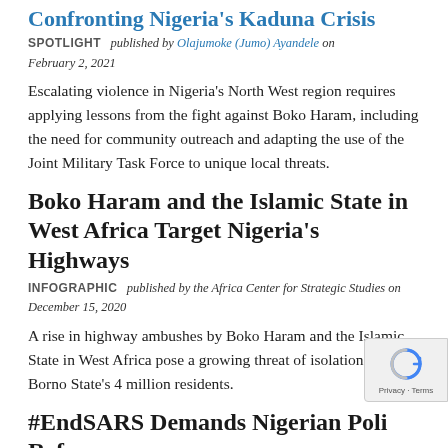Confronting Nigeria's Kaduna Crisis
SPOTLIGHT   published by Olajumoke (Jumo) Ayandele on February 2, 2021
Escalating violence in Nigeria's North West region requires applying lessons from the fight against Boko Haram, including the need for community outreach and adapting the use of the Joint Military Task Force to unique local threats.
Boko Haram and the Islamic State in West Africa Target Nigeria's Highways
INFOGRAPHIC   published by the Africa Center for Strategic Studies on December 15, 2020
A rise in highway ambushes by Boko Haram and the Islamic State in West Africa pose a growing threat of isolation for Borno State's 4 million residents.
#EndSARS Demands Nigerian Police Reform